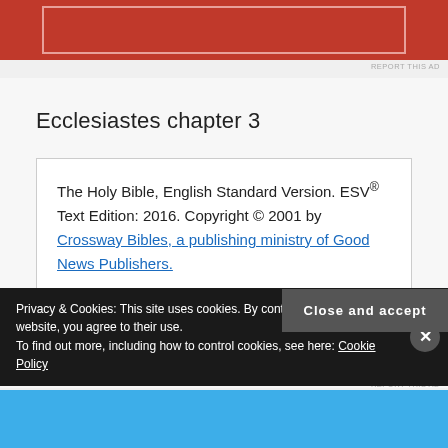[Figure (other): Red advertisement banner at top of page]
Ecclesiastes chapter 3
The Holy Bible, English Standard Version. ESV® Text Edition: 2016. Copyright © 2001 by Crossway Bibles, a publishing ministry of Good News Publishers.
Privacy & Cookies: This site uses cookies. By continuing to use this website, you agree to their use.
To find out more, including how to control cookies, see here: Cookie Policy
Close and accept
[Figure (other): Blue advertisement banner at bottom of page]